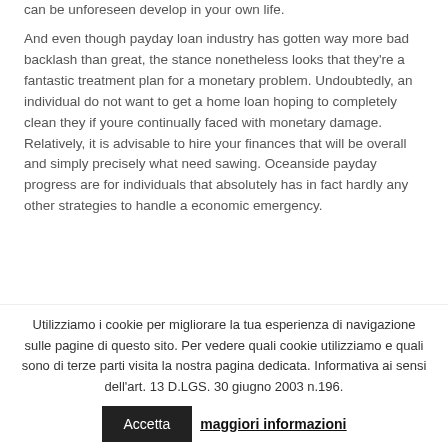can be unforeseen develop in your own life.
And even though payday loan industry has gotten way more bad backlash than great, the stance nonetheless looks that they're a fantastic treatment plan for a monetary problem. Undoubtedly, an individual do not want to get a home loan hoping to completely clean they if youre continually faced with monetary damage. Relatively, it is advisable to hire your finances that will be overall and simply precisely what need sawing. Oceanside payday progress are for individuals that absolutely has in fact hardly any other strategies to handle a economic emergency.
What exactly Should An Online
Utilizziamo i cookie per migliorare la tua esperienza di navigazione sulle pagine di questo sito. Per vedere quali cookie utilizziamo e quali sono di terze parti visita la nostra pagina dedicata. Informativa ai sensi dell'art. 13 D.LGS. 30 giugno 2003 n.196.  Accetta  maggiori informazioni